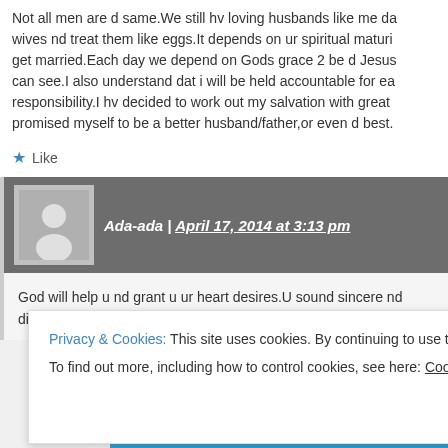Not all men are d same.We still hv loving husbands like me dat luv our wives nd treat them like eggs.It depends on ur spiritual maturity when u get married.Each day we depend on Gods grace 2 be d Jesus dat our wives can see.I also understand dat i will be held accountable for each God given responsibility.I hv decided to work out my salvation with great fear and hv promised myself to be a better husband/father,or even d best.
★ Like
Ada-ada | April 17, 2014 at 3:13 pm
God will help u nd grant u ur heart desires.U sound sincere nd u didnt try 2 justify ur shortcomings/weaknesses.
Privacy & Cookies: This site uses cookies. By continuing to use this website, you agree to their use.
To find out more, including how to control cookies, see here: Cookie Policy
Close and accept